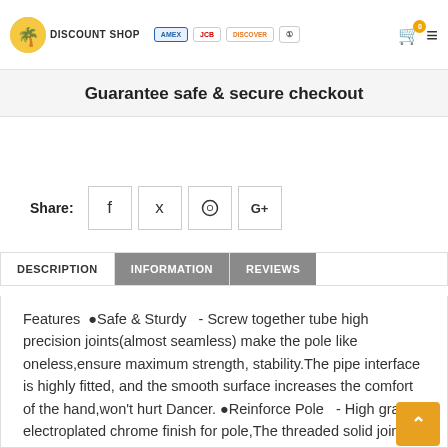DISCOUNT SHOP — payment icons: AMEX, JCB, DISCOVER, Diners — cart: 0
Guarantee safe & secure checkout
Share:
DESCRIPTION  INFORMATION  REVIEWS
Features ⦁Safe & Sturdy - Screw together tube high precision joints(almost seamless) make the pole like oneless,ensure maximum strength, stability.The pipe interface is highly fitted, and the smooth surface increases the comfort of the hand,won't hurt Dancer. ⦁Reinforce Pole - High grade electroplated chrome finish for pole,The threaded solid joint increases the fit of the pipe,also improve the stability of the